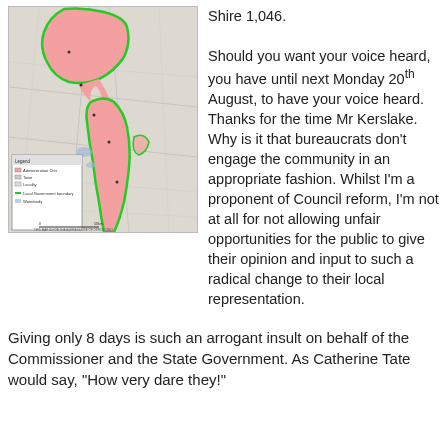[Figure (map): Regional map showing an area boundary highlighted in pink/red with a green outline, depicting a local government boundary. A legend box is shown in the lower left of the map.]
Shire 1,046.

Should you want your voice heard, you have until next Monday 20th August, to have your voice heard. Thanks for the time Mr Kerslake. Why is it that bureaucrats don't engage the community in an appropriate fashion. Whilst I'm a proponent of Council reform, I'm not at all for not allowing unfair opportunities for the public to give their opinion and input to such a radical change to their local representation.
Giving only 8 days is such an arrogant insult on behalf of the Commissioner and the State Government. As Catherine Tate would say, "How very dare they!"